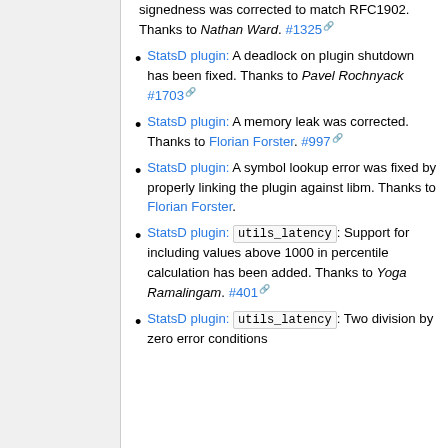signedness was corrected to match RFC1902. Thanks to Nathan Ward. #1325
StatsD plugin: A deadlock on plugin shutdown has been fixed. Thanks to Pavel Rochnyack #1703
StatsD plugin: A memory leak was corrected. Thanks to Florian Forster. #997
StatsD plugin: A symbol lookup error was fixed by properly linking the plugin against libm. Thanks to Florian Forster.
StatsD plugin: utils_latency: Support for including values above 1000 in percentile calculation has been added. Thanks to Yoga Ramalingam. #401
StatsD plugin: utils_latency: Two division by zero error conditions